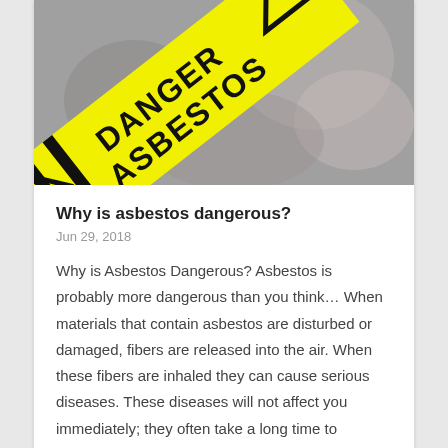[Figure (photo): Photo showing yellow and black 'DANGER ASBESTOS' warning tape with a hazard triangle symbol, against a blurred grey background.]
Why is asbestos dangerous?
Jun 29, 2018
Why is Asbestos Dangerous? Asbestos is probably more dangerous than you think… When materials that contain asbestos are disturbed or damaged, fibers are released into the air. When these fibers are inhaled they can cause serious diseases. These diseases will not affect you immediately; they often take a long time to develop, but once diagnosed, […]